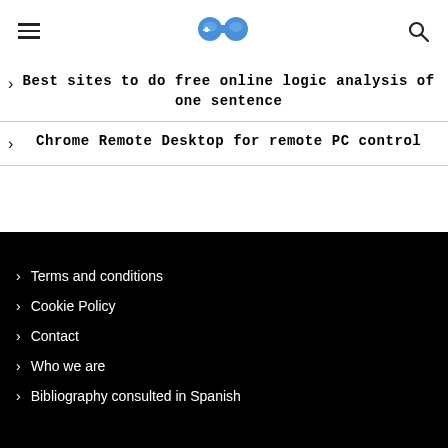[Figure (logo): Blue game controller / gamepad logo icon]
Best sites to do free online logic analysis of one sentence
Chrome Remote Desktop for remote PC control
Terms and conditions
Cookie Policy
Contact
Who we are
Bibliography consulted in Spanish